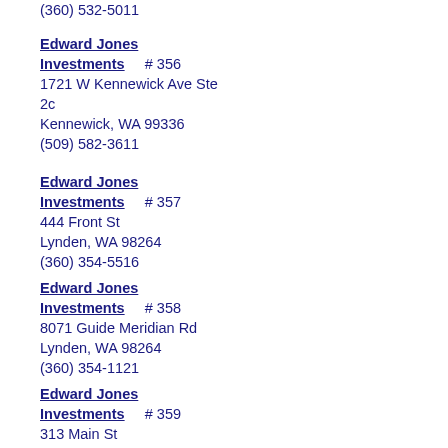(360) 532-5011
Edward Jones Investments    # 356
1721 W Kennewick Ave Ste 2c
Kennewick, WA 99336
(509) 582-3611
Edward Jones Investments    # 357
444 Front St
Lynden, WA 98264
(360) 354-5516
Edward Jones Investments    # 358
8071 Guide Meridian Rd
Lynden, WA 98264
(360) 354-1121
Edward Jones Investments    # 359
313 Main St
Mccleary, WA 98557
(360) 482-5560
Edward Jones Investments    # 360
137 S 1st St